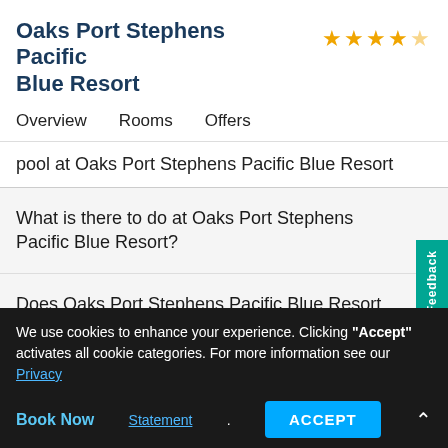Oaks Port Stephens Pacific Blue Resort
Overview   Rooms   Offers
pool at Oaks Port Stephens Pacific Blue Resort
What is there to do at Oaks Port Stephens Pacific Blue Resort?
Does Oaks Port Stephens Pacific Blue Resort have a balcony?
What are the check-in and check-out times at Oaks Port Stephens Pacific Blue Resort?
We use cookies to enhance your experience. Clicking "Accept" activates all cookie categories. For more information see our Privacy Statement.